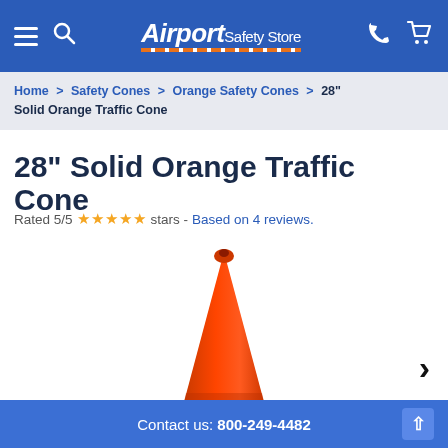Airport Safety Store — navigation header with hamburger menu, search, logo, phone, and cart icons
Home > Safety Cones > Orange Safety Cones > 28" Solid Orange Traffic Cone
28" Solid Orange Traffic Cone
Rated 5/5 ★★★★★ stars - Based on 4 reviews.
[Figure (photo): A solid orange traffic cone (28 inch) shown against a white background, viewed from the front. The cone tapers from a wide orange base up to a rounded orange tip.]
Contact us: 800-249-4482